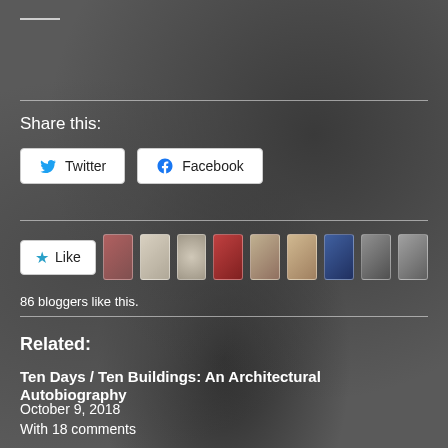Share this:
Twitter
Facebook
Like
86 bloggers like this.
Related:
Ten Days / Ten Buildings: An Architectural Autobiography
October 9, 2018
With 18 comments